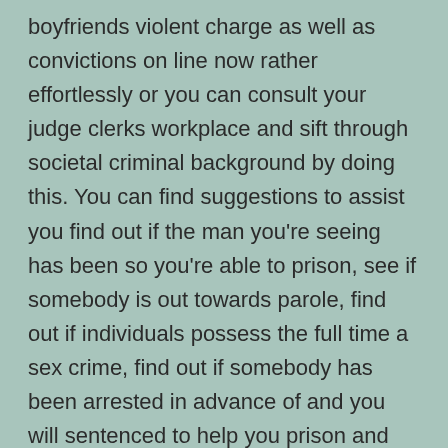boyfriends violent charge as well as convictions on line now rather effortlessly or you can consult your judge clerks workplace and sift through societal criminal background by doing this. You can find suggestions to assist you find out if the man you're seeing has been so you're able to prison, see if somebody is out towards parole, find out if individuals possess the full time a sex crime, find out if somebody has been arrested in advance of and you will sentenced to help you prison and much more you can find out by the checking police records.